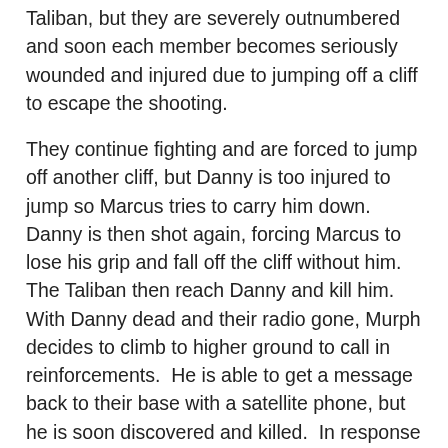Taliban, but they are severely outnumbered and soon each member becomes seriously wounded and injured due to jumping off a cliff to escape the shooting.
They continue fighting and are forced to jump off another cliff, but Danny is too injured to jump so Marcus tries to carry him down.  Danny is then shot again, forcing Marcus to lose his grip and fall off the cliff without him.  The Taliban then reach Danny and kill him.  With Danny dead and their radio gone, Murph decides to climb to higher ground to call in reinforcements.  He is able to get a message back to their base with a satellite phone, but he is soon discovered and killed.  In response to the distress call, the quick reaction force, lead by Commander Erik Kristensen (Eric Bana), assembles and flies to the team's pick up